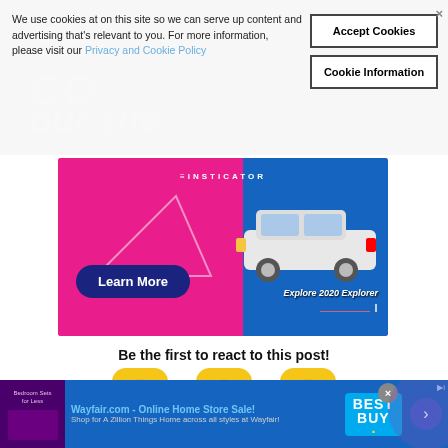[Figure (screenshot): Dark hero background with faint italic text and colors suggesting a news/media website header]
We use cookies at on this site so we can serve up content and advertising that's relevant to you. For more information, please visit our Privacy and Cookie Policy
Accept Cookies
Cookie Information
[Figure (screenshot): Ford 2020 Explorer advertisement banner with pink/blue gradient background, Learn More button, Insticator logo, and white SUV image with 'Explore 2020 Explorer' text]
Be the first to react to this post!
[Figure (illustration): Three emoji reaction icons: heart-eyes emoji, laughing-crying emoji, and surprised/shocked emoji, each with yellow rounded square backgrounds]
[Figure (screenshot): Bottom advertisement strip with Wayfair.com - Online Home Store Sale! ad on left, Best Buy logo in center, and navigation arrow on right on blue background]